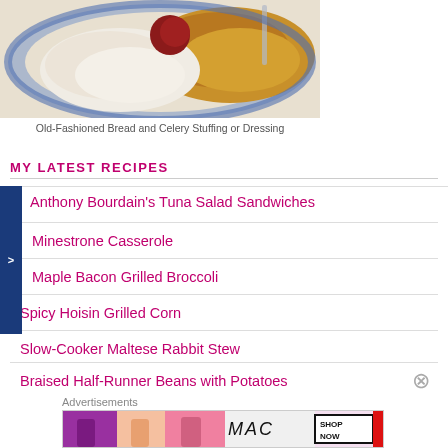[Figure (photo): Overhead photograph of a blue and white decorative plate with sliced turkey/chicken and stuffing dressing, with cranberry sauce visible.]
Old-Fashioned Bread and Celery Stuffing or Dressing
MY LATEST RECIPES
Anthony Bourdain's Tuna Salad Sandwiches
Minestrone Casserole
Maple Bacon Grilled Broccoli
Spicy Hoisin Grilled Corn
Slow-Cooker Maltese Rabbit Stew
Braised Half-Runner Beans with Potatoes
Advertisements
[Figure (photo): MAC Cosmetics advertisement showing lipsticks in purple, peach, pink, red colors with MAC logo and SHOP NOW button]